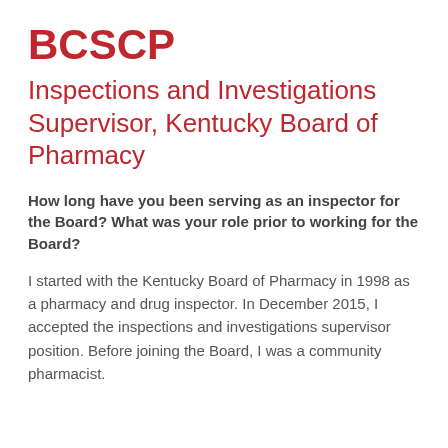BCSCP
Inspections and Investigations Supervisor, Kentucky Board of Pharmacy
How long have you been serving as an inspector for the Board? What was your role prior to working for the Board?
I started with the Kentucky Board of Pharmacy in 1998 as a pharmacy and drug inspector. In December 2015, I accepted the inspections and investigations supervisor position. Before joining the Board, I was a community pharmacist.